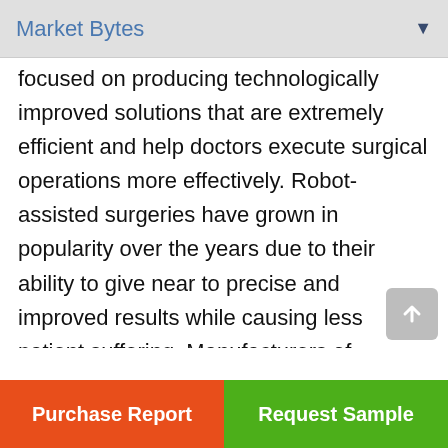Market Bytes
focused on producing technologically improved solutions that are extremely efficient and help doctors execute surgical operations more effectively. Robot-assisted surgeries have grown in popularity over the years due to their ability to give near to precise and improved results while causing less patient suffering. Manufacturers of orthopedic surgical robots are extensively investing in robotics to provide improved navigation during surgical operations and provide 3-Dimensional scans. Companies are engaging in partnerships and
Purchase Report | Request Sample